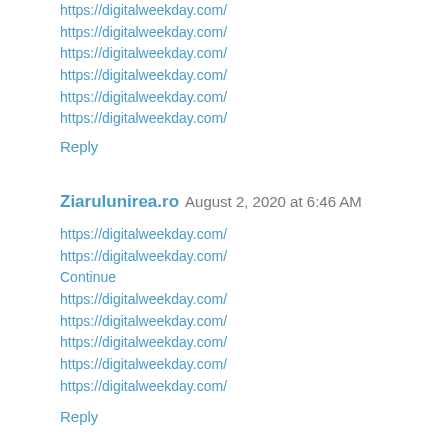https://digitalweekday.com/
https://digitalweekday.com/
https://digitalweekday.com/
https://digitalweekday.com/
https://digitalweekday.com/
https://digitalweekday.com/
Reply
Ziarulunirea.ro  August 2, 2020 at 6:46 AM
https://digitalweekday.com/
https://digitalweekday.com/
Continue
https://digitalweekday.com/
https://digitalweekday.com/
https://digitalweekday.com/
https://digitalweekday.com/
https://digitalweekday.com/
Reply